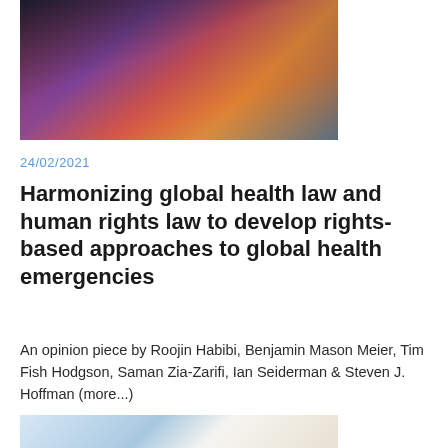[Figure (photo): Photo of a person lying down being attended to by another person, with colorful clothing and a red background]
24/02/2021
Harmonizing global health law and human rights law to develop rights-based approaches to global health emergencies
An opinion piece by Roojin Habibi, Benjamin Mason Meier, Tim Fish Hodgson, Saman Zia-Zarifi, Ian Seiderman & Steven J. Hoffman (more...)
[Figure (photo): Partial photo at bottom of page, showing hands and papers on a surface]